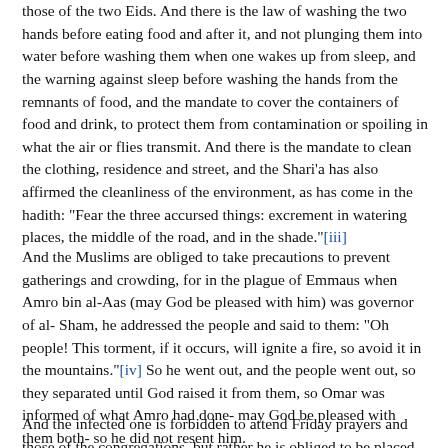those of the two Eids. And there is the law of washing the two hands before eating food and after it, and not plunging them into water before washing them when one wakes up from sleep, and the warning against sleep before washing the hands from the remnants of food, and the mandate to cover the containers of food and drink, to protect them from contamination or spoiling in what the air or flies transmit. And there is the mandate to clean the clothing, residence and street, and the Shari'a has also affirmed the cleanliness of the environment, as has come in the hadith: "Fear the three accursed things: excrement in watering places, the middle of the road, and in the shade."[iii]
And the Muslims are obliged to take precautions to prevent gatherings and crowding, for in the plague of Emmaus when Amro bin al-Aas (may God be pleased with him) was governor of al-Sham, he addressed the people and said to them: "Oh people! This torment, if it occurs, will ignite a fire, so avoid it in the mountains."[iv] So he went out, and the people went out, so they separated until God raised it from them, so Omar was informed of what Amro had done- may God be pleased with them both- so he did not resent him.
And the infected one is forbidden to attend Friday prayers and those of the congregations, but rather he is obliged to be placed